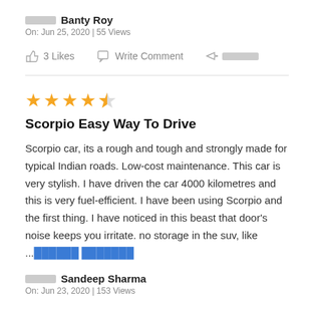██████ Banty Roy
On: Jun 25, 2020 | 55 Views
3 Likes   Write Comment   ███████
Scorpio Easy Way To Drive
Scorpio car, its a rough and tough and strongly made for typical Indian roads. Low-cost maintenance. This car is very stylish. I have driven the car 4000 kilometres and this is very fuel-efficient. I have been using Scorpio and the first thing. I have noticed in this beast that door's noise keeps you irritate. no storage in the suv, like ...██████ ███████
██████ Sandeep Sharma
On: Jun 23, 2020 | 153 Views